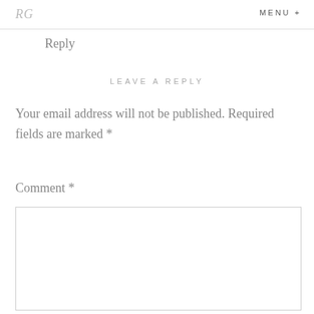RG  MENU +
Reply
LEAVE A REPLY
Your email address will not be published. Required fields are marked *
Comment *